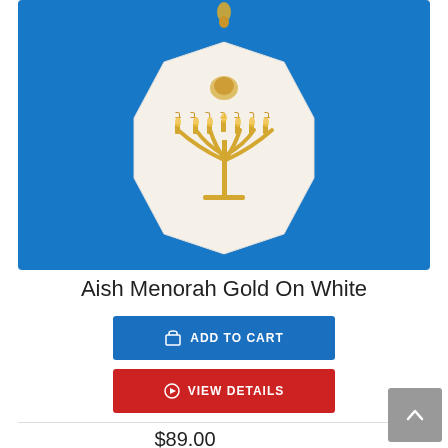[Figure (photo): A gold menorah pendant on a white octagonal medallion with a gold chain bail, displayed against a bright blue background.]
Aish Menorah Gold On White
ADD TO CART
VIEW DETAILS
$89.00